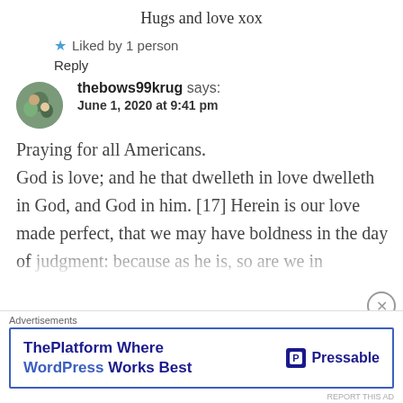Hugs and love xox
★ Liked by 1 person
Reply
thebows99krug says: June 1, 2020 at 9:41 pm
Praying for all Americans. God is love; and he that dwelleth in love dwelleth in God, and God in him. [17] Herein is our love made perfect, that we may have boldness in the day of judgment: because as he is, so are we in
Advertisements
ThePlatform Where WordPress Works Best   P Pressable